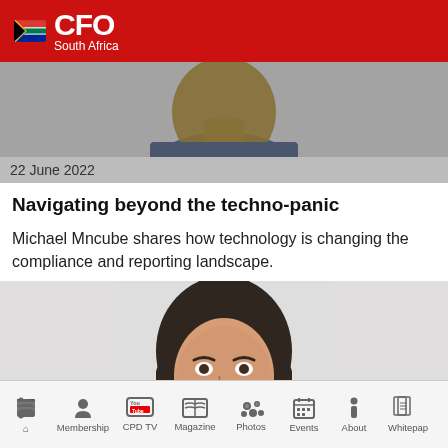CFO South Africa
[Figure (photo): Partially cropped headshot of a man (Michael Mncube) against a gray background, showing only the lower face and chest]
22 June 2022
Navigating beyond the techno-panic
Michael Mncube shares how technology is changing the compliance and reporting landscape.
[Figure (photo): Headshot portrait of a young woman with long dark hair, facing forward, against a light background]
Membership  CPD TV  Magazine  Photos  Events  About  Whitepap...